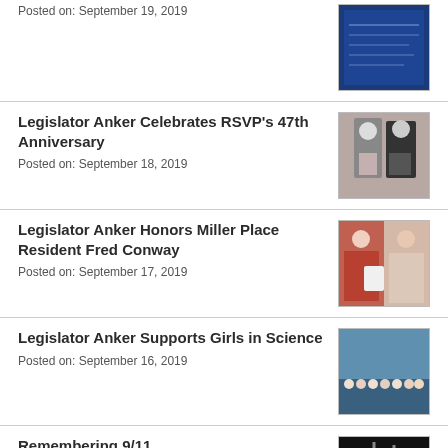Posted on: September 19, 2019
[Figure (photo): Blue document/flyer thumbnail]
Legislator Anker Celebrates RSVP's 47th Anniversary
Posted on: September 18, 2019
[Figure (photo): Two women posing with a certificate]
Legislator Anker Honors Miller Place Resident Fred Conway
Posted on: September 17, 2019
[Figure (photo): Two people posing, one in red jacket, holding a paper]
Legislator Anker Supports Girls in Science
Posted on: September 16, 2019
[Figure (photo): Group photo of girls in a science facility]
Remembering 9/11
Posted on: September 13, 2019
[Figure (photo): Dark image of memorial or event]
Legislator Anker Honors Boro… NY…